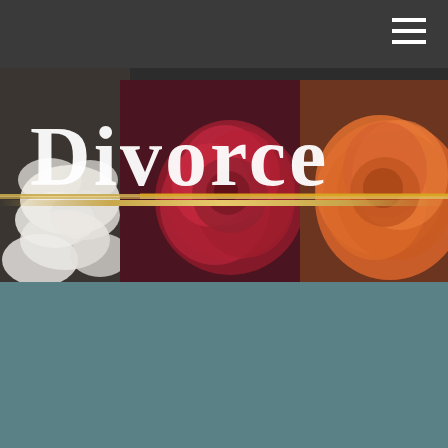[Figure (photo): Floral background image with large red/pink and orange ranunculus flowers. White text 'Divorce' overlaid on top with a gold horizontal divider line.]
Divorce is one of the most stressful life events you can experience, behind the death of a spouse.¹ Financial disruption can add to that. Read on to learn how you can create a post-divorce budget to take control and pursue your goals.
01
Money Date
[Figure (photo): Floral arrangement with greenery and white flowers, photographed on a white surface, partially visible on right side of page.]